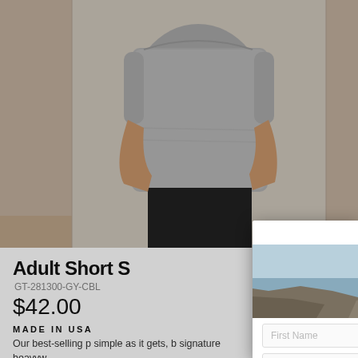[Figure (photo): Product page showing a person wearing a heather gray short sleeve t-shirt, cropped at torso. Tan/beige background. Left and right tan strips frame the center image.]
Adult Short S[leeve T-Shirt]
GT-281300-GY-CBL[...]
$42.00
MADE IN USA
Our best-selling p[remium t-shirt is as] simple as it gets, b[uilt with our] signature heavyw[eight...]
[Figure (screenshot): Popup modal overlay from Goodwear website. Contains Goodwear logo in red, coastal cliff scene background image with headline 'Get 10% off your first ord[er]', subtext 'Join our mailing list to receive exclusive deals and news[letter]', First Name input field, Email input field, red Submit button, and 'No thanks' button.]